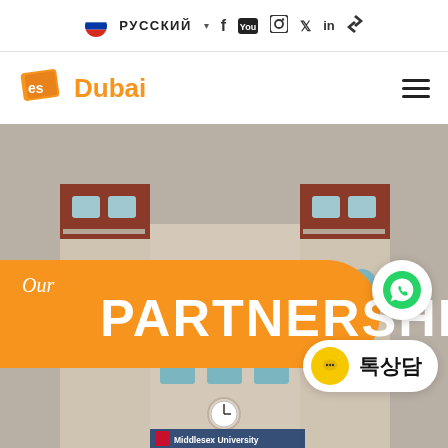🇷🇺 РУССКИЙ ▾  f  YouTube  Instagram  Twitter  LinkedIn  TikTok
[Figure (logo): ES Dubai logo with orange book/graduation cap icon and orange text 'Dubai']
[Figure (photo): Exterior photo of Middlesex University Dubai campus building with archway entrance. Orange banner overlay reads 'Our PARTNERSHIPS' in white text.]
Our PARTNERSHIPS
[Figure (other): WhatsApp green phone icon button]
[Figure (other): Yellow chat bubble Korean consultation button reading '톡상담']